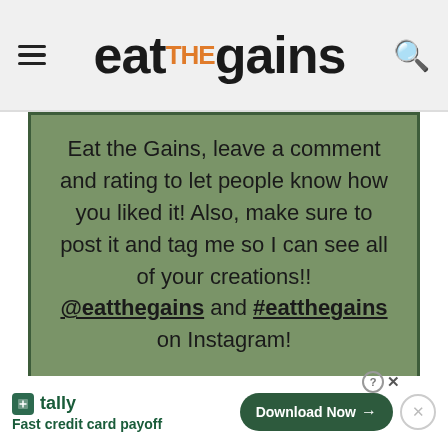eat the gains
Eat the Gains, leave a comment and rating to let people know how you liked it! Also, make sure to post it and tag me so I can see all of your creations!! @eatthegains and #eatthegains on Instagram!
Tally — Fast credit card payoff — Download Now